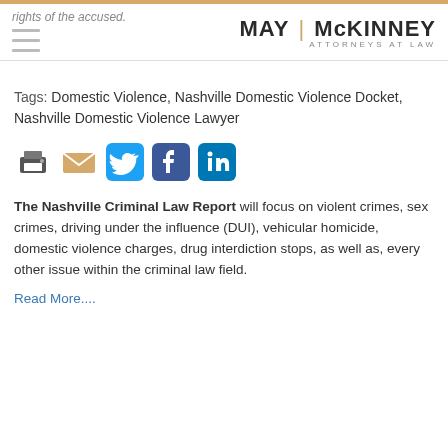rights of the accused. MAY | McKINNEY ATTORNEYS AT LAW
Tags: Domestic Violence, Nashville Domestic Violence Docket, Nashville Domestic Violence Lawyer
[Figure (infographic): Social sharing icons: print, email, Twitter, Facebook, LinkedIn]
The Nashville Criminal Law Report will focus on violent crimes, sex crimes, driving under the influence (DUI), vehicular homicide, domestic violence charges, drug interdiction stops, as well as, every other issue within the criminal law field. Read More....